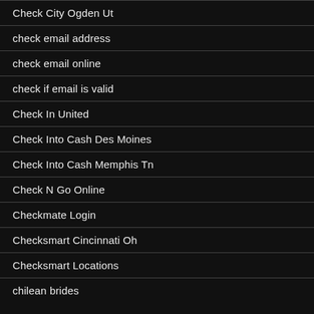Check City Ogden Ut
check email address
check email online
check if email is valid
Check In United
Check Into Cash Des Moines
Check Into Cash Memphis Tn
Check N Go Online
Checkmate Login
Checksmart Cincinnati Oh
Checksmart Locations
chilean brides